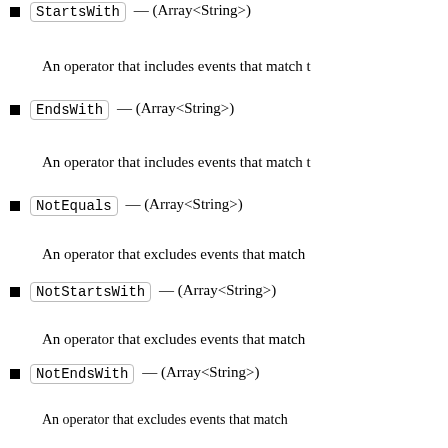StartsWith — (Array<String>)
An operator that includes events that match t
EndsWith — (Array<String>)
An operator that includes events that match t
NotEquals — (Array<String>)
An operator that excludes events that match
NotStartsWith — (Array<String>)
An operator that excludes events that match
NotEndsWith — (Array<String>)
An operator that excludes events that match
MultiRegionEnabled — (Boolean)
Indicates whether the event data store is collecting ev